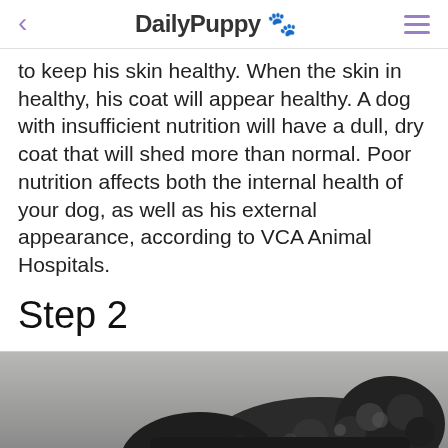DailyPuppy 🐾
to keep his skin healthy. When the skin in healthy, his coat will appear healthy. A dog with insufficient nutrition will have a dull, dry coat that will shed more than normal. Poor nutrition affects both the internal health of your dog, as well as his external appearance, according to VCA Animal Hospitals.
Step 2
[Figure (photo): Black fluffy dog photographed from the side, partially visible at bottom of page, grayscale]